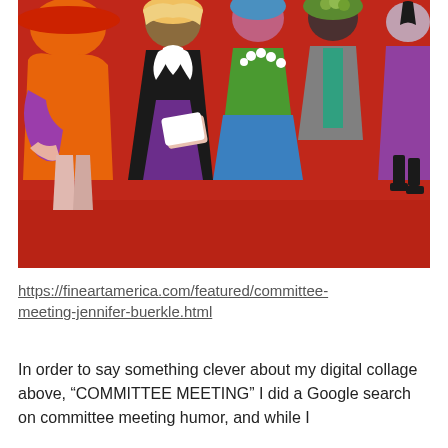[Figure (illustration): A colorful digital collage illustration showing multiple stylized women figures in a committee meeting setting, with bold flat colors including red, orange, purple, blue, green, and black against a red background.]
https://fineartamerica.com/featured/committee-meeting-jennifer-buerkle.html
In order to say something clever about my digital collage above, “COMMITTEE MEETING” I did a Google search on committee meeting humor, and while I